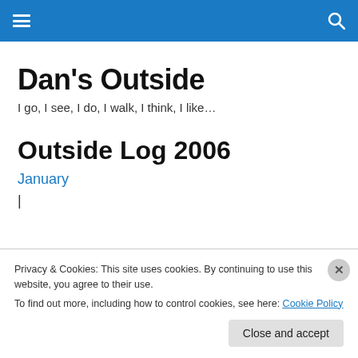Dan's Outside [navigation bar with hamburger menu and search icon]
Dan's Outside
I go, I see, I do, I walk, I think, I like…
Outside Log 2006
January
|
Privacy & Cookies: This site uses cookies. By continuing to use this website, you agree to their use.
To find out more, including how to control cookies, see here: Cookie Policy
Close and accept